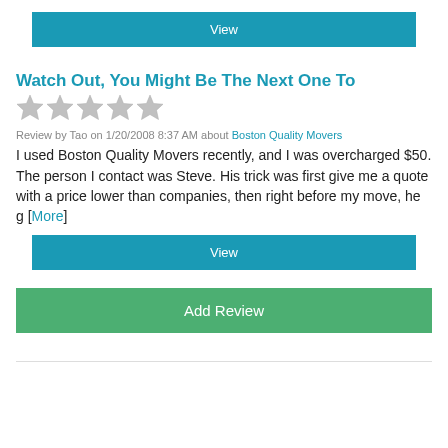[Figure (other): Teal 'View' button at top]
Watch Out, You Might Be The Next One To
[Figure (other): 5 empty/grey star rating icons]
Review by Tao on 1/20/2008 8:37 AM about Boston Quality Movers
I used Boston Quality Movers recently, and I was overcharged $50. The person I contact was Steve. His trick was first give me a quote with a price lower than companies, then right before my move, he g [More]
[Figure (other): Teal 'View' button at bottom of review]
[Figure (other): Green 'Add Review' button]